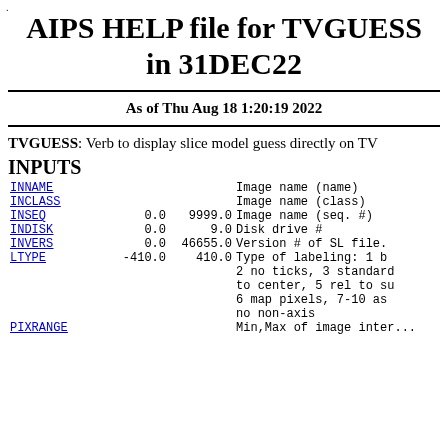AIPS HELP file for TVGUESS in 31DEC22
As of Thu Aug 18 1:20:19 2022
TVGUESS: Verb to display slice model guess directly on TV
INPUTS
| Parameter | Min | Max | Description |
| --- | --- | --- | --- |
| INNAME |  |  | Image name (name) |
| INCLASS |  |  | Image name (class) |
| INSEQ | 0.0 | 9999.0 | Image name (seq. #) |
| INDISK | 0.0 | 9.0 | Disk drive # |
| INVERS | 0.0 | 46655.0 | Version # of SL file. |
| LTYPE | -410.0 | 410.0 | Type of labeling: 1 b... 2 no ticks, 3 standard to center, 5 rel to su... 6 map pixels, 7-10 as... no non-axis |
| PIXRANGE |  |  | Min,Max of image inter... |